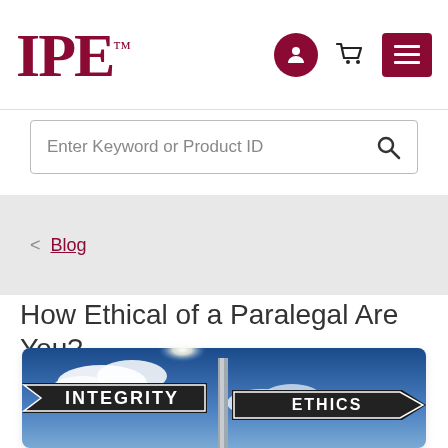IPE
Enter Keyword or Product ID
< Blog
How Ethical of a Paralegal Are You?
[Figure (photo): Street signs reading INTEGRITY and ETHICS against a blue sky with clouds]